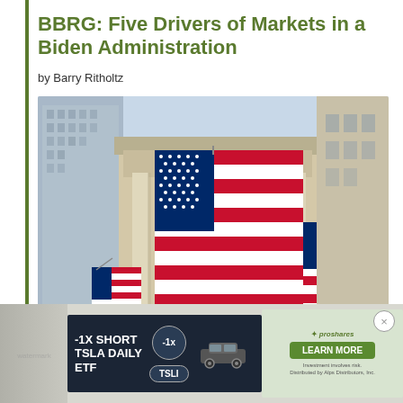BBRG: Five Drivers of Markets in a Biden Administration
by Barry Ritholtz
[Figure (photo): Photograph of the New York Stock Exchange building facade draped with large American flags, with additional smaller flags visible. Classical stone columns frame the entrance. Skyscrapers visible in the background to the left.]
[Figure (other): Advertisement banner: -1X SHORT TSLA DAILY ETF with -1X badge, TSLI pill label, image of Tesla car, ProShares logo, and LEARN MORE button. Includes disclaimer text: 'Investment involves risk. Distributed by Alps Distributors, Inc.']